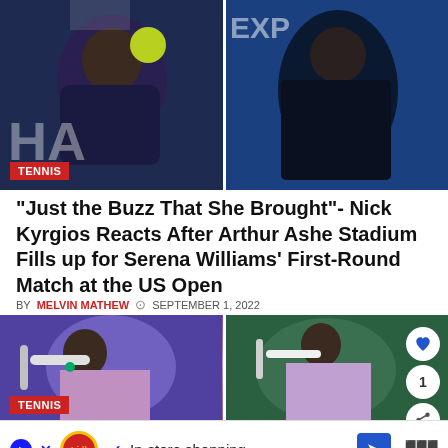[Figure (photo): Two side-by-side tennis action photos at the top. Left shows player hitting shot with 'HA' visible, tennis badge overlay reads TENNIS. Right shows player in dark outfit with 'EXP' text visible in background.]
“Just the Buzz That She Brought”- Nick Kyrgios Reacts After Arthur Ashe Stadium Fills up for Serena Williams’ First-Round Match at the US Open
BY MELVIN MATHEW ⊙ SEPTEMBER 1, 2022
[Figure (photo): Two side-by-side tennis photos at the bottom. Left shows female player in lavender outfit looking down with racket. Right shows same player crouching on court. TENNIS badge on lower left. Social icons (heart, 1, share) on right side.]
In-store shopping